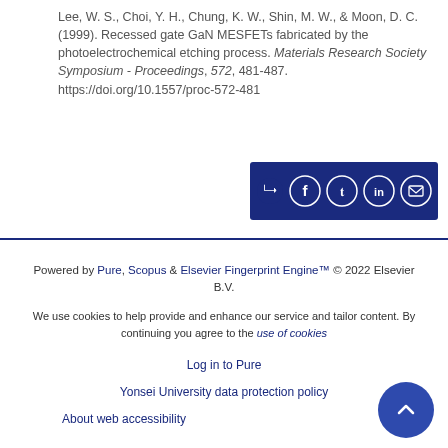Lee, W. S., Choi, Y. H., Chung, K. W., Shin, M. W., & Moon, D. C. (1999). Recessed gate GaN MESFETs fabricated by the photoelectrochemical etching process. Materials Research Society Symposium - Proceedings, 572, 481-487. https://doi.org/10.1557/proc-572-481
[Figure (other): Social share button bar with icons for share, Facebook, Twitter, LinkedIn, and email on a dark blue background]
Powered by Pure, Scopus & Elsevier Fingerprint Engine™ © 2022 Elsevier B.V.
We use cookies to help provide and enhance our service and tailor content. By continuing you agree to the use of cookies
Log in to Pure
Yonsei University data protection policy
About web accessibility